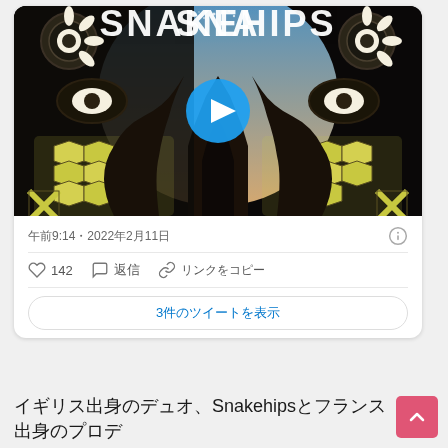[Figure (screenshot): Snakehips music video thumbnail with dark artistic snake/butterfly wing pattern art, blue sky gradient in center, white 'SNAKEHIPS' text at top, and blue play button circle overlay]
午前9:14・2022年2月11日
♡ 142  ◯ 返信  🔗 リンクをコピー
3件のツイートを表示
イギリス出身のデュオ、Snakehipsとフランス出身のプロデ